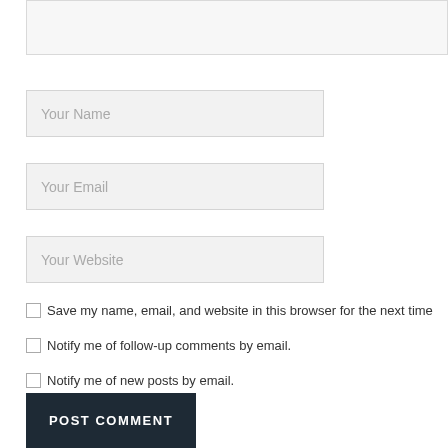[Figure (screenshot): Top portion of a text area input box (comment box), showing only its border and background, cropped at the top.]
Your Name
Your Email
Your Website
Save my name, email, and website in this browser for the next time
Notify me of follow-up comments by email.
Notify me of new posts by email.
POST COMMENT